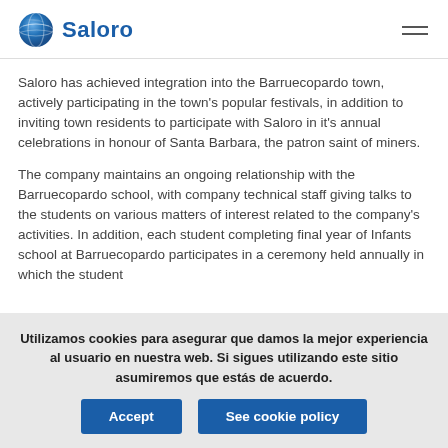Saloro
Saloro has achieved integration into the Barruecopardo town, actively participating in the town's popular festivals, in addition to inviting town residents to participate with Saloro in it's annual celebrations in honour of Santa Barbara, the patron saint of miners.
The company maintains an ongoing relationship with the Barruecopardo school, with company technical staff giving talks to the students on various matters of interest related to the company's activities. In addition, each student completing final year of Infants school at Barruecopardo participates in a ceremony held annually in which the student
Utilizamos cookies para asegurar que damos la mejor experiencia al usuario en nuestra web. Si sigues utilizando este sitio asumiremos que estás de acuerdo.